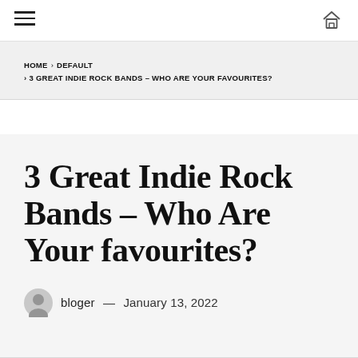Navigation bar with hamburger menu and home icon
HOME > DEFAULT > 3 GREAT INDIE ROCK BANDS – WHO ARE YOUR FAVOURITES?
3 Great Indie Rock Bands – Who Are Your favourites?
bloger — January 13, 2022